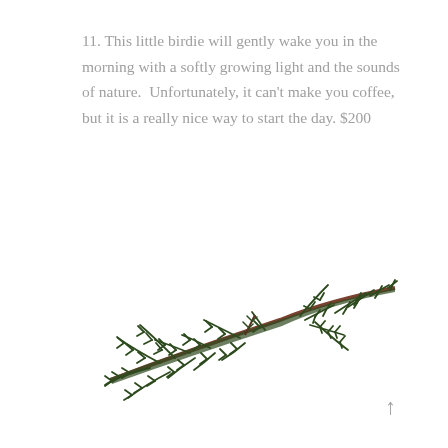11. This little birdie will gently wake you in the morning with a softly growing light and the sounds of nature.  Unfortunately, it can't make you coffee, but it is a really nice way to start the day. $200
[Figure (illustration): Decorative illustration of a pine or fir branch with needle-like leaves in dark green, depicted diagonally with brown stem tip at right.]
↑